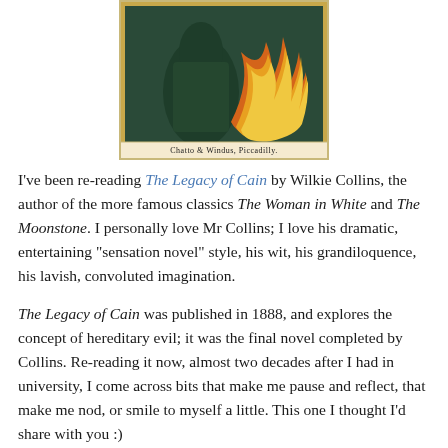[Figure (illustration): Book cover illustration showing a figure in dark green robes with flaming or dramatic orange/gold elements, framed with a golden border. Bottom caption reads 'Chatto & Windus, Piccadilly.']
I've been re-reading The Legacy of Cain by Wilkie Collins, the author of the more famous classics The Woman in White and The Moonstone. I personally love Mr Collins; I love his dramatic, entertaining "sensation novel" style, his wit, his grandiloquence, his lavish, convoluted imagination.
The Legacy of Cain was published in 1888, and explores the concept of hereditary evil; it was the final novel completed by Collins. Re-reading it now, almost two decades after I had in university, I come across bits that make me pause and reflect, that make me nod, or smile to myself a little. This one I thought I'd share with you :)